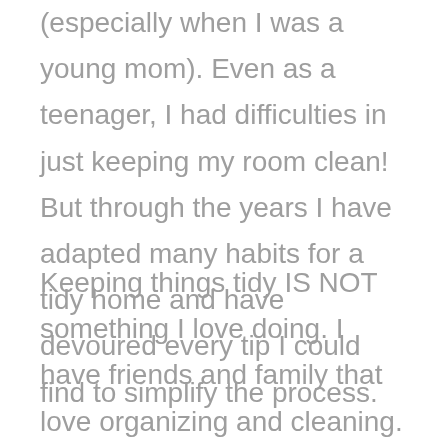(especially when I was a young mom). Even as a teenager, I had difficulties in just keeping my room clean! But through the years I have adapted many habits for a tidy home and have devoured every tip I could find to simplify the process.
Keeping things tidy IS NOT something I love doing. I have friends and family that love organizing and cleaning. I am quite the opposite, but I don't like overwhelm. When I create a mess, I become very overwhelmed. So